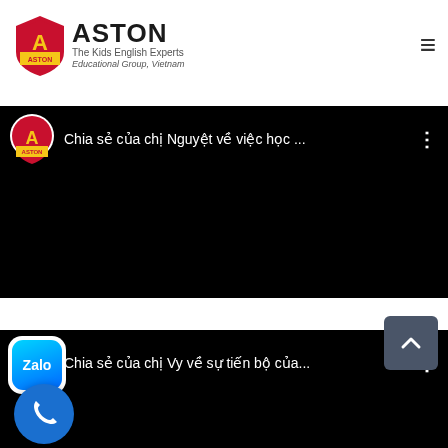ASTON - The Kids English Experts - Educational Group, Vietnam
[Figure (screenshot): Video thumbnail card 1: Aston logo with title 'Chia sẻ của chị Nguyệt về việc học ...' on black background]
[Figure (screenshot): Video thumbnail card 2: Aston logo with title 'Chia sẻ của chị Vy về sự tiến bộ của...' on black background]
[Figure (logo): Zalo app icon floating button]
[Figure (illustration): Phone call floating action button]